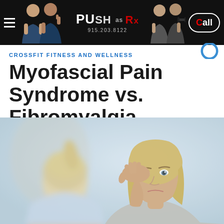PUSH as Rx | 915.203.8122 | Call
CROSSFIT FITNESS AND WELLNESS
Myofascial Pain Syndrome vs. Fibromyalgia
[Figure (photo): A blond woman seen from behind (out of focus) facing another blond woman in the foreground who holds her hand to her head, appearing distressed or in pain, in a clinical setting.]